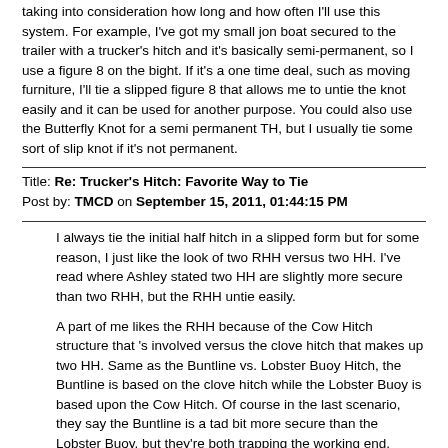taking into consideration how long and how often I'll use this system. For example, I've got my small jon boat secured to the trailer with a trucker's hitch and it's basically semi-permanent, so I use a figure 8 on the bight. If it's a one time deal, such as moving furniture, I'll tie a slipped figure 8 that allows me to untie the knot easily and it can be used for another purpose. You could also use the Butterfly Knot for a semi permanent TH, but I usually tie some sort of slip knot if it's not permanent.
Title: Re: Trucker's Hitch: Favorite Way to Tie
Post by: TMCD on September 15, 2011, 01:44:15 PM
I always tie the initial half hitch in a slipped form but for some reason, I just like the look of two RHH versus two HH. I've read where Ashley stated two HH are slightly more secure than two RHH, but the RHH untie easily.
A part of me likes the RHH because of the Cow Hitch structure that 's involved versus the clove hitch that makes up two HH. Same as the Buntline vs. Lobster Buoy Hitch, the Buntline is based on the clove hitch while the Lobster Buoy is based upon the Cow Hitch. Of course in the last scenario, they say the Buntline is a tad bit more secure than the Lobster Buoy, but they're both trapping the working end.
Title: Re: Trucker's Hitch: Favorite Way to Tie
Post by: sinthome on October 26, 2011, 12:03:07 AM